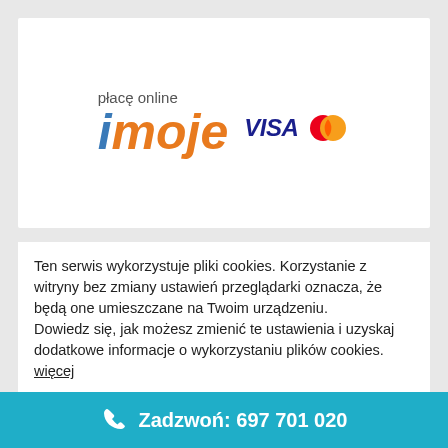[Figure (logo): iMoje online payment logo with VISA and Mastercard payment method logos. Text reads 'płacę online imoje' with 'i' in blue italic and 'moje' in orange italic.]
Ten serwis wykorzystuje pliki cookies. Korzystanie z witryny bez zmiany ustawień przeglądarki oznacza, że będą one umieszczane na Twoim urządzeniu.
Dowiedz się, jak możesz zmienić te ustawienia i uzyskaj dodatkowe informacje o wykorzystaniu plików cookies.
więcej
Zadzwoń: 697 701 020